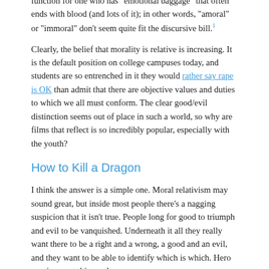function for one who has "emotional baggage" that often ends with blood (and lots of it); in other words, "amoral" or "immoral" don't seem quite fit the discursive bill.1
Clearly, the belief that morality is relative is increasing. It is the default position on college campuses today, and students are so entrenched in it they would rather say rape is OK than admit that there are objective values and duties to which we all must conform. The clear good/evil distinction seems out of place in such a world, so why are films that reflect is so incredibly popular, especially with the youth?
How to Kill a Dragon
I think the answer is a simple one. Moral relativism may sound great, but inside most people there's a nagging suspicion that it isn't true. People long for good to triumph and evil to be vanquished. Underneath it all they really want there to be a right and a wrong, a good and an evil, and they want to be able to identify which is which. Hero movies meet this need.
G.K. Chesterton famously observed:
Fairy tales do not give the child the idea of the evil or the ugly; that is in the child already, because it